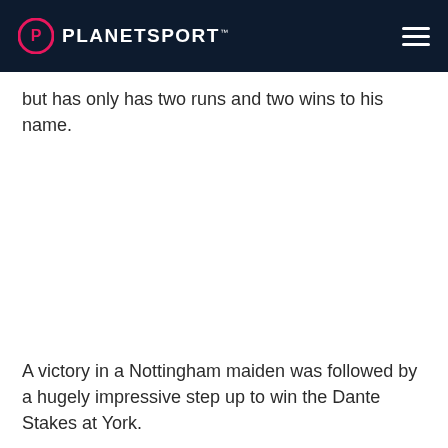PLANETSPORT
but has only has two runs and two wins to his name.
A victory in a Nottingham maiden was followed by a hugely impressive step up to win the Dante Stakes at York.